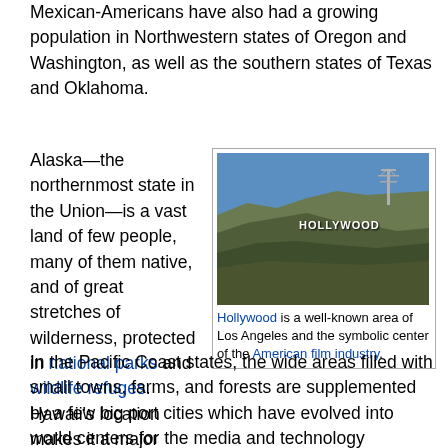Mexican-Americans have also had a growing population in Northwestern states of Oregon and Washington, as well as the southern states of Texas and Oklahoma.
Alaska—the northernmost state in the Union—is a vast land of few people, many of them native, and of great stretches of wilderness, protected in national parks and wildlife refuges. Hawaii's location makes it a major gateway between the U.S. and Asia, as well as a center for tourism.
[Figure (photo): The Hollywood sign on a hillside in Los Angeles, with a communications tower visible in the background against a blue sky.]
Hollywood is a well-known area of Los Angeles and the symbolic center of the American film industry.
In the Pacific Coast states, the wide areas filled with small towns, farms, and forests are supplemented by a few big port cities which have evolved into world centers for the media and technology industries. Now the second largest city in the nation, Los Angeles is best known as the home of the Hollywood film industry; the area